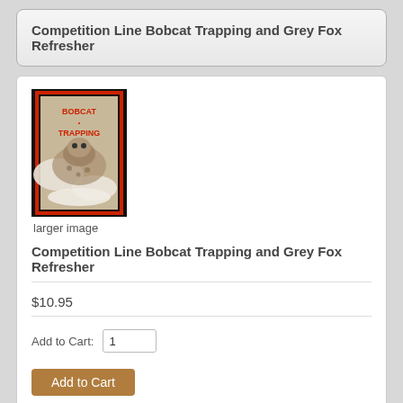Competition Line Bobcat Trapping and Grey Fox Refresher
[Figure (photo): Book cover for 'Bobcat Trapping' showing a bobcat on a snowy background with red title text and red border frame]
larger image
Competition Line Bobcat Trapping and Grey Fox Refresher
$10.95
Add to Cart: 1
Add to Cart